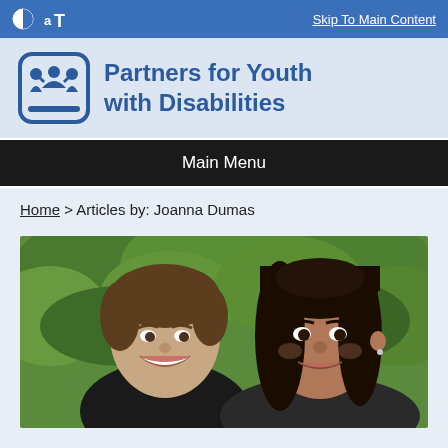Skip To Main Content
Partners for Youth with Disabilities
Main Menu
Home > Articles by: Joanna Dumas
[Figure (photo): A selfie photo of two people smiling outdoors with green trees in the background. A young man with short brown hair on the left and a woman with long dark hair on the right.]